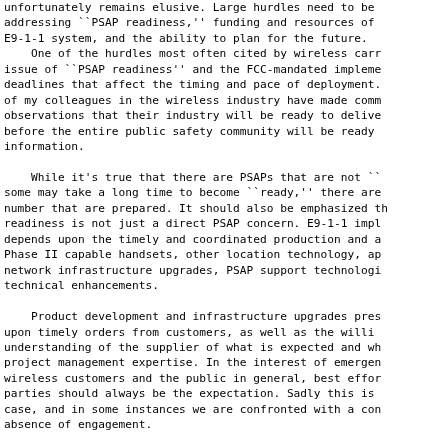unfortunately remains elusive. Large hurdles need to be addressing ``PSAP readiness,'' funding and resources of E9-1-1 system, and the ability to plan for the future.
    One of the hurdles most often cited by wireless carr issue of ``PSAP readiness'' and the FCC-mandated impleme deadlines that affect the timing and pace of deployment. of my colleagues in the wireless industry have made comm observations that their industry will be ready to delive before the entire public safety community will be ready information.

    While it's true that there are PSAPs that are not `` some may take a long time to become ``ready,'' there are number that are prepared. It should also be emphasized th readiness is not just a direct PSAP concern. E9-1-1 impl depends upon the timely and coordinated production and a Phase II capable handsets, other location technology, ap network infrastructure upgrades, PSAP support technologi technical enhancements.

    Product development and infrastructure upgrades pres upon timely orders from customers, as well as the willi understanding of the supplier of what is expected and wh project management expertise. In the interest of emergen wireless customers and the public in general, best effor parties should always be the expectation. Sadly this is case, and in some instances we are confronted with a con absence of engagement.

    Ultimately wireless 9-1-1 calls must be routed to a network infrastructure of a landline telephone company. T System Service Provider'' is usually an incumbent local telephone company (ILEC). A critical stakeholder in the have been for the most part absent from both the origin